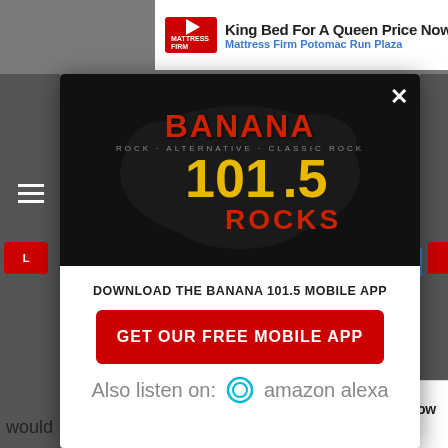[Figure (screenshot): Top advertisement banner: Mattress Firm - King Bed For A Queen Price Now, Mattress Firm Potomac Run Plaza]
[Figure (logo): Banana 101.5 Rocks radio station logo on dark background inside modal dialog]
DOWNLOAD THE BANANA 101.5 MOBILE APP
GET OUR FREE MOBILE APP
Also listen on:  amazon alexa
[Figure (screenshot): Bottom advertisement banner: Mattress Firm - King Bed For A Queen Price Now, Mattress Firm Potomac Run Plaza]